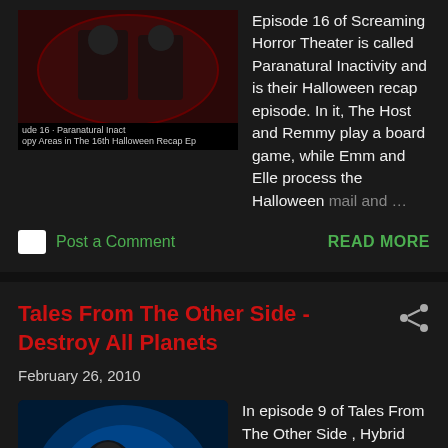Episode 16 of Screaming Horror Theater is called Paranatural Inactivity and is their Halloween recap episode. In it, The Host and Remmy play a board game, while Emm and Elle process the Halloween mail and ...
Post a Comment
READ MORE
Tales From The Other Side - Destroy All Planets
February 26, 2010
In episode 9 of Tales From The Other Side , Hybrid hosts the classic kaiju movie Destroy All Planets . Watch the full show here: Get shell shocked at: tftos.com